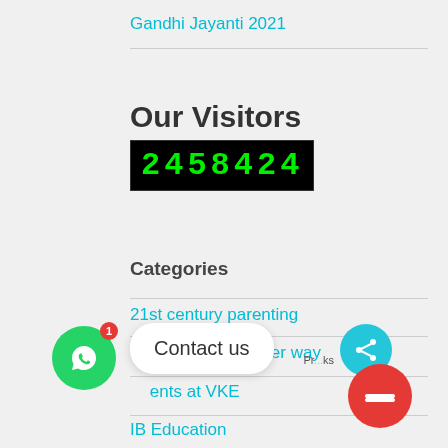Gandhi Jayanti 2021
Our Visitors
[Figure (other): Digital visitor counter showing 2458424]
Categories
21st century parenting
Educating in a better way
Events at VKE
IB Education
[Figure (other): WhatsApp contact button with badge showing 1, Contact us tooltip, share button, and red close button]